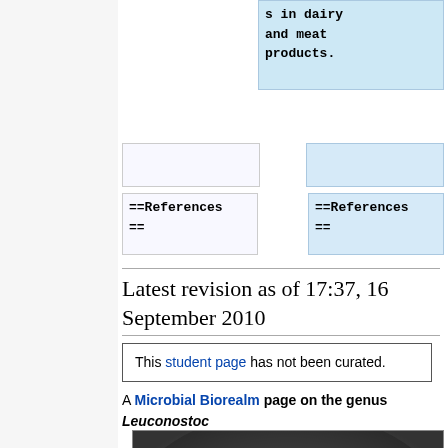s in dairy and meat products.
==References ==
==References ==
Latest revision as of 17:37, 16 September 2010
This student page has not been curated.
A Microbial Biorealm page on the genus Leuconostoc
[Figure (photo): Electron microscope image of Leuconostoc bacteria — oval/spherical cells scattered on a surface, grayscale SEM image]